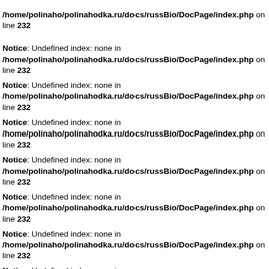/home/polinaho/polinahodka.ru/docs/russBio/DocPage/index.php on line 232
Notice: Undefined index: none in /home/polinaho/polinahodka.ru/docs/russBio/DocPage/index.php on line 232
Notice: Undefined index: none in /home/polinaho/polinahodka.ru/docs/russBio/DocPage/index.php on line 232
Notice: Undefined index: none in /home/polinaho/polinahodka.ru/docs/russBio/DocPage/index.php on line 232
Notice: Undefined index: none in /home/polinaho/polinahodka.ru/docs/russBio/DocPage/index.php on line 232
Notice: Undefined index: none in /home/polinaho/polinahodka.ru/docs/russBio/DocPage/index.php on line 232
Notice: Undefined index: none in /home/polinaho/polinahodka.ru/docs/russBio/DocPage/index.php on line 232
Notice: Undefined index: none in /home/polinaho/polinahodka.ru/docs/russBio/DocPage/index.php on line 232
Notice: Undefined index: none in /home/polinaho/polinahodka.ru/docs/russBio/DocPage/index.php on line 232
Notice: Undefined index: none in /home/polinaho/polinahodka.ru/docs/russBio/DocPage/index.php on line 232
Notice: Undefined index: none in /home/polinaho/polinahodka.ru/docs/russBio/DocPage/index.php on line 232